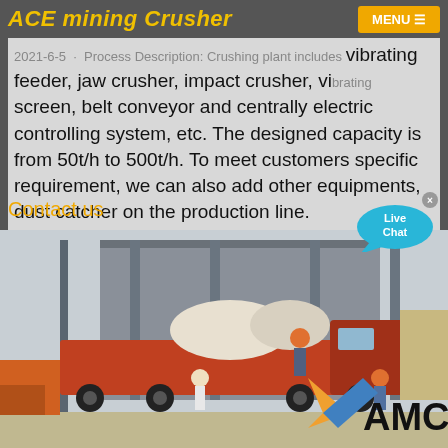ACE mining Crusher | MENU
2021-6-5 · Process Description: Crushing plant includes vibrating feeder, jaw crusher, impact crusher, vibrating screen, belt conveyor and centrally electric controlling system, etc. The designed capacity is from 50t/h to 500t/h. To meet customers specific requirement, we can also add other equipments, dust catcher on the production line.
Contact us
[Figure (photo): Construction/mining site photo showing workers and a truck loaded with equipment and materials at an industrial facility with tall metal framework structures. AMC logo visible in bottom right corner.]